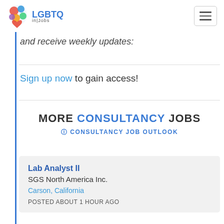[Figure (logo): LGBTQ in|Jobs logo with colorful speech bubble icon]
and receive weekly updates:
Sign up now to gain access!
MORE CONSULTANCY JOBS
ℹ CONSULTANCY JOB OUTLOOK
Lab Analyst II
SGS North America Inc.
Carson, California
POSTED ABOUT 1 HOUR AGO
Supervisor, Microbiology